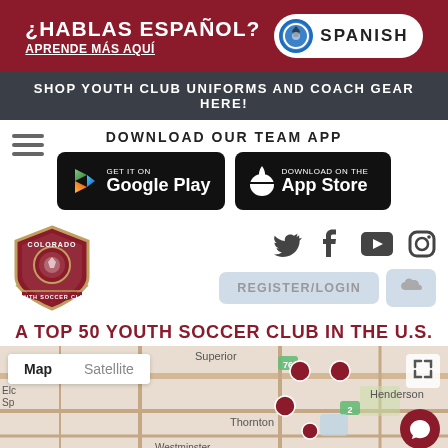[Figure (screenshot): Red banner with Spanish language option: ¿HABLAS ESPAÑOL? APRENDE MÁS AQUÍ with a SPANISH button]
SHOP YOUTH CLUB UNIFORMS AND COACH GEAR HERE!
DOWNLOAD OUR TEAM APP
[Figure (logo): Google Play badge]
[Figure (logo): App Store badge]
[Figure (logo): Colorado Youth Soccer Club shield logo]
[Figure (screenshot): Social media icons: Twitter, Facebook, YouTube, Instagram]
REGISTER/LOGIN
A TOP 50 YOUTH SOCCER CLUB IN THE U.S.
[Figure (map): Google Maps showing Colorado area with Map/Satellite toggle, locations marked with Colorado Rapids Youth Soccer Club logos near Superior, Henderson, Thornton, Westminster]